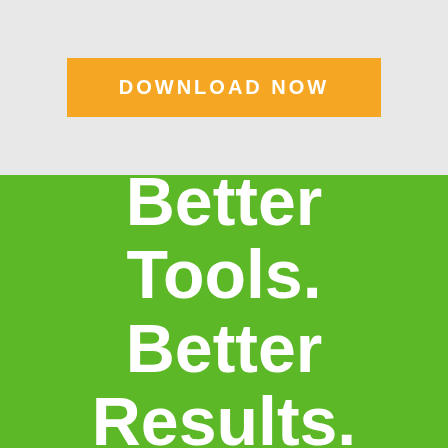[Figure (infographic): Orange 'DOWNLOAD NOW' button centered on a light gray background in the upper section of the page.]
Better Tools. Better Results.